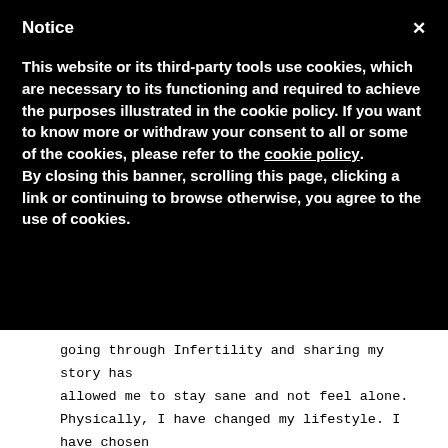Notice
This website or its third-party tools use cookies, which are necessary to its functioning and required to achieve the purposes illustrated in the cookie policy. If you want to know more or withdraw your consent to all or some of the cookies, please refer to the cookie policy.
By closing this banner, scrolling this page, clicking a link or continuing to browse otherwise, you agree to the use of cookies.
going through Infertility and sharing my story has allowed me to stay sane and not feel alone. Physically, I have changed my lifestyle. I have chosen to take care of myself from the inside out and create and environment that a child will be happy and comfortable to grow in. My at-home business (health and fitness coaching) has allowed me to take charge